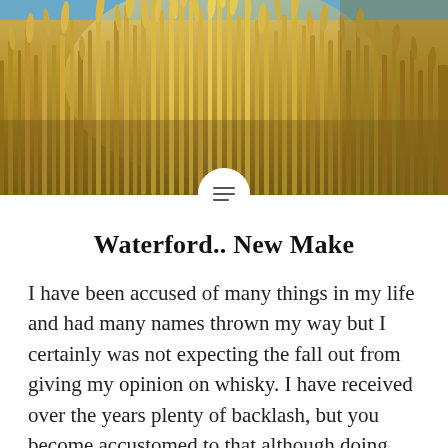[Figure (photo): Golden wheat field with tall grain stalks filling the frame, warm golden tones, blue sky visible at top]
Waterford.. New Make
I have been accused of many things in my life and had many names thrown my way but I certainly was not expecting the fall out from giving my opinion on whisky.  I have received over the years plenty of backlash, but you become accustomed to that although  doing whisky reviews when it comes to...